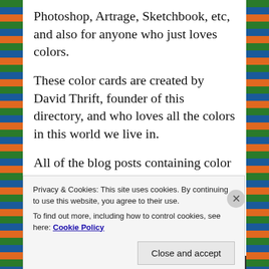Photoshop, Artrage, Sketchbook, etc, and also for anyone who just loves colors.
These color cards are created by David Thrift, founder of this directory, and who loves all the colors in this world we live in.
All of the blog posts containing color cards we put on site in September of this year have been removed from the blog on
Privacy & Cookies: This site uses cookies. By continuing to use this website, you agree to their use.
To find out more, including how to control cookies, see here: Cookie Policy
Close and accept